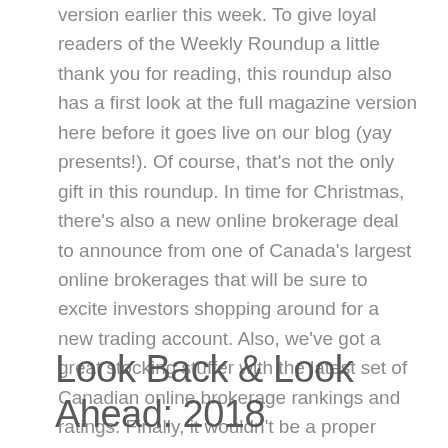version earlier this week. To give loyal readers of the Weekly Roundup a little thank you for reading, this roundup also has a first look at the full magazine version here before it goes live on our blog (yay presents!). Of course, that's not the only gift in this roundup. In time for Christmas, there's also a new online brokerage deal to announce from one of Canada's largest online brokerages that will be sure to excite investors shopping around for a new trading account. Also, we've got a great stocking stuffer with the latest set of Canadian online brokerage rankings and ratings. Finally, it wouldn't be a proper roundup without the discount brokerage tweets as well as chatter from investors in the forums.
Look Back & Look Ahead: 2018